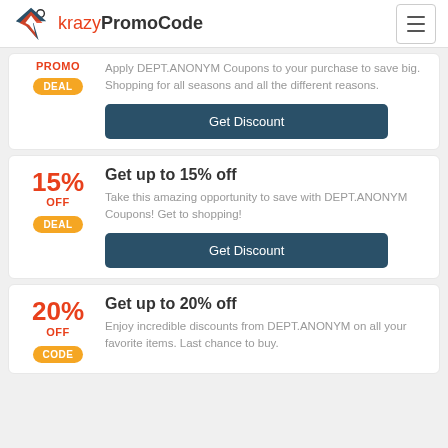krazyPromoCode
PROMO — Apply DEPT.ANONYM Coupons to your purchase to save big. Shopping for all seasons and all the different reasons.
DEAL — Get Discount
15% OFF — Get up to 15% off — Take this amazing opportunity to save with DEPT.ANONYM Coupons! Get to shopping! — DEAL — Get Discount
20% OFF — Get up to 20% off — Enjoy incredible discounts from DEPT.ANONYM on all your favorite items. Last chance to buy. — CODE